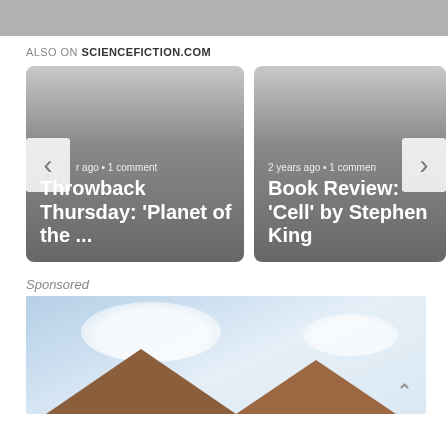[Figure (screenshot): Top gray banner bar]
ALSO ON SCIENCEFICTION.COM
[Figure (screenshot): Card carousel with two article cards: 'Throwback Thursday: Planet of the ...' with '...ago • 1 comment' and 'Book Review: Cell by Stephen King' with '2 years ago • 1 comment'. Left and right navigation arrows visible.]
Sponsored
[Figure (photo): Sponsored image showing houses with wooden rooftops against a blue sky with white clouds]